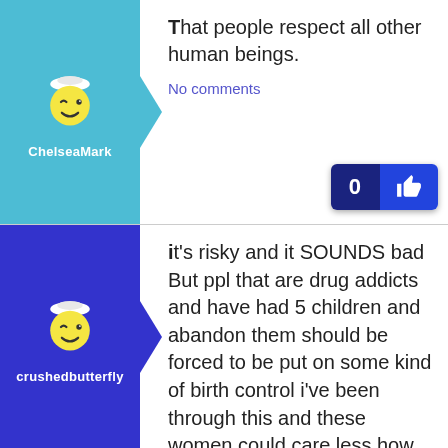[Figure (illustration): Avatar icon of a cartoon nurse/chef character winking, on teal background with arrow pointing right, username ChelseaMark below]
That people respect all other human beings.
No comments
[Figure (illustration): Like button showing count 0 and thumbs up icon on dark blue background]
[Figure (illustration): Avatar icon of a cartoon nurse/chef character winking, on dark blue/purple background with arrow pointing right, username crushedbutterfly below]
it's risky and it SOUNDS bad But ppl that are drug addicts and have had 5 children and abandon them should be forced to be put on some kind of birth control i've been through this and these women could care less how many children they have or where they end up